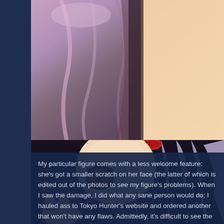[Figure (photo): Close-up photo of an anime figure's clothing/robe in purple and pink tones with a peach/orange background, showing fabric folds and draping.]
My particular figure comes with a less welcome feature: she's got a smaller scratch on her face (the latter of which is edited out of the photos to see my figure's problems). When I saw the damage, I did what any sane person would do; I hauled ass to Tokyo Hunter's website and ordered another that won't have any flaws. Admittedly, it's difficult to see the damage from two feet, but I'm overreactive like that.
[Figure (photo): Close-up photo of an anime figure's face showing a chibi-style character with large brown eyes, light purple/lavender hair, red accessories/ornaments in hair, and wearing a dark purple/maroon outfit. The figure's hand is visible in the foreground.]